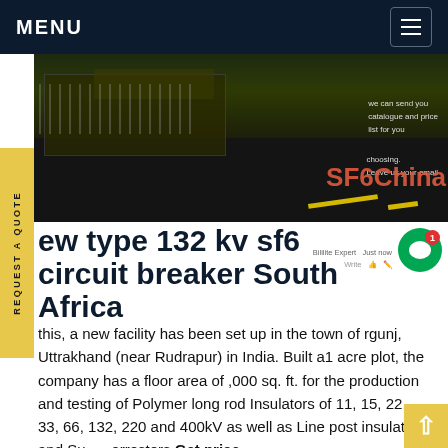MENU
[Figure (photo): Night scene showing road/industrial equipment, with SF6 China overlay text and smaller text reading 'we can send you catalogue and price list for you choosing. Leave us your email']
new type 132 kv sf6 circuit breaker South Africa
this, a new facility has been set up in the town of rgunj, Uttrakhand (near Rudrapur) in India. Built a 1 acre plot, the company has a floor area of ,000 sq. ft. for the production and testing of Polymer long rod Insulators of 11, 15, 22, 33, 66, 132, 220 and 400kV as well as Line post insulators and Surge arresters.Get price